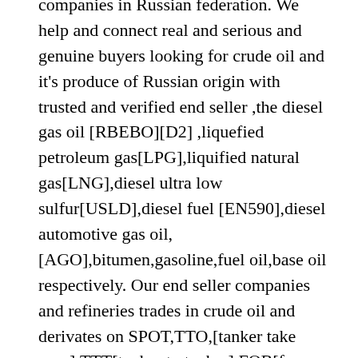companies in Russian federation. We help and connect real and serious and genuine buyers looking for crude oil and it's produce of Russian origin with trusted and verified end seller ,the diesel gas oil [RBEBO][D2] ,liquefied petroleum gas[LPG],liquified natural gas[LNG],diesel ultra low sulfur[USLD],diesel fuel [EN590],diesel automotive gas oil, [AGO],bitumen,gasoline,fuel oil,base oil respectively. Our end seller companies and refineries trades in crude oil and derivates on SPOT,TTO,[tanker take over],TTT[tanker to tanker],FOB[free on board,CI,DIP+PAY and CIF basis respectively. We also help and assist serious TANK FARM facilities in various ports in Russian federation, Rotterdam and Huston. We are very conversant with the storage tank distribution process and